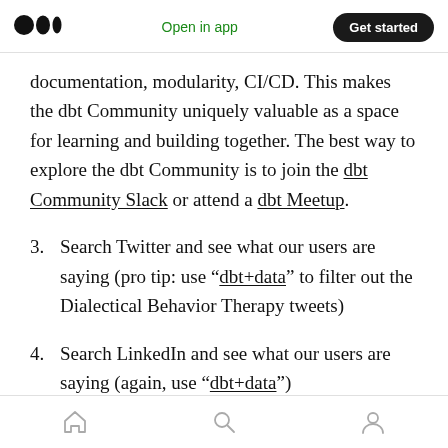Medium logo | Open in app | Get started
documentation, modularity, CI/CD. This makes the dbt Community uniquely valuable as a space for learning and building together. The best way to explore the dbt Community is to join the dbt Community Slack or attend a dbt Meetup.
3. Search Twitter and see what our users are saying (pro tip: use “dbt+data” to filter out the Dialectical Behavior Therapy tweets)
4. Search LinkedIn and see what our users are saying (again, use “dbt+data”)
Home | Search | Profile